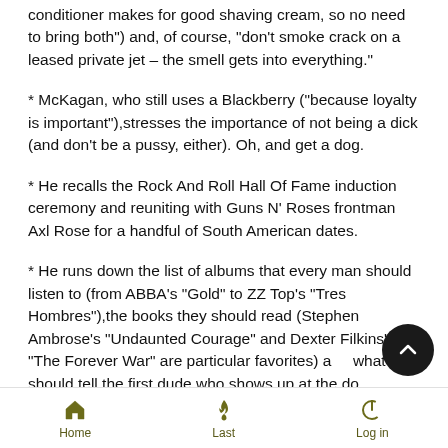conditioner makes for good shaving cream, so no need to bring both") and, of course, "don't smoke crack on a leased private jet – the smell gets into everything."
* McKagan, who still uses a Blackberry ("because loyalty is important"),stresses the importance of not being a dick (and don't be a pussy, either). Oh, and get a dog.
* He recalls the Rock And Roll Hall Of Fame induction ceremony and reuniting with Guns N' Roses frontman Axl Rose for a handful of South American dates.
* He runs down the list of albums that every man should listen to (from ABBA's "Gold" to ZZ Top's "Tres Hombres"),the books they should read (Stephen Ambrose's "Undaunted Courage" and Dexter Filkins' "The Forever War" are particular favorites) and what they should tell the first dude who shows up at the door to date daddy's little girl ("you pull him aside and tell him, 'everything
Home   Last   Log in